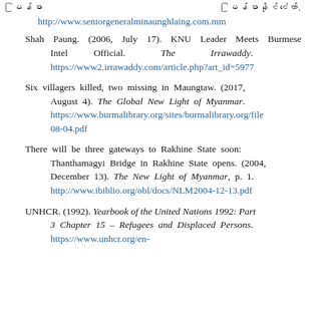[Myanmar text] http://www.seniorgeneralminaunghlaing.com.mm [Myanmar text]
Shah Paung. (2006, July 17). KNU Leader Meets Burmese Intel Official. The Irrawaddy. https://www2.irrawaddy.com/article.php?art_id=5977
Six villagers killed, two missing in Maungtaw. (2017, August 4). The Global New Light of Myanmar. https://www.burmalibrary.org/sites/burmalibrary.org/file 08-04.pdf
There will be three gateways to Rakhine State soon: Thanthamagyi Bridge in Rakhine State opens. (2004, December 13). The New Light of Myanmar, p. 1. http://www.ibiblio.org/obl/docs/NLM2004-12-13.pdf
UNHCR. (1992). Yearbook of the United Nations 1992: Part 3 Chapter 15 – Refugees and Displaced Persons. https://www.unhcr.org/en-